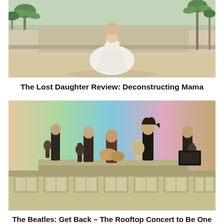[Figure (photo): Woman in white dress sitting outdoors near palm trees and a beach/resort setting]
The Lost Daughter Review: Deconstructing Mama
[Figure (photo): The Beatles performing on a rooftop concert with colorful gradient background]
The Beatles: Get Back – The Rooftop Concert to Be One Night IMAX Event